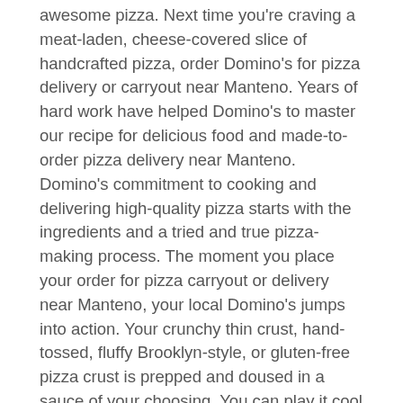awesome pizza. Next time you're craving a meat-laden, cheese-covered slice of handcrafted pizza, order Domino's for pizza delivery or carryout near Manteno. Years of hard work have helped Domino's to master our recipe for delicious food and made-to-order pizza delivery near Manteno. Domino's commitment to cooking and delivering high-quality pizza starts with the ingredients and a tried and true pizza-making process. The moment you place your order for pizza carryout or delivery near Manteno, your local Domino's jumps into action. Your crunchy thin crust, hand-tossed, fluffy Brooklyn-style, or gluten-free pizza crust is prepped and doused in a sauce of your choosing. You can play it cool with an authentic marinara or venture into new taste territory with Alfredo sauce, BBQ sauce, or garlic parmesan white sauce!
Then comes your toppings, the bits that make your pizza yours. Domino's specialty pizzas provide the most thoughtful flavor varieties to satisfy whatever tastes you desire. Head over heels for Philly Cheese Steak? Domino's has it! Prefer a little pineapple on your pizza? Chow down on the Honolulu Hawaiian Pizza with pineapple, smoked and crispy bacon, sliced ham, and more! Prefer veggies to meat? There's a Domino's pizza for every